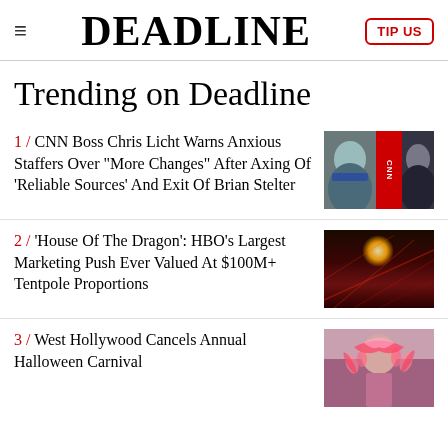DEADLINE
Trending on Deadline
1 / CNN Boss Chris Licht Warns Anxious Staffers Over "More Changes" After Axing Of 'Reliable Sources' And Exit Of Brian Stelter
2 / 'House Of The Dragon': HBO's Largest Marketing Push Ever Valued At $100M+ Tentpole Proportions
3 / West Hollywood Cancels Annual Halloween Carnival